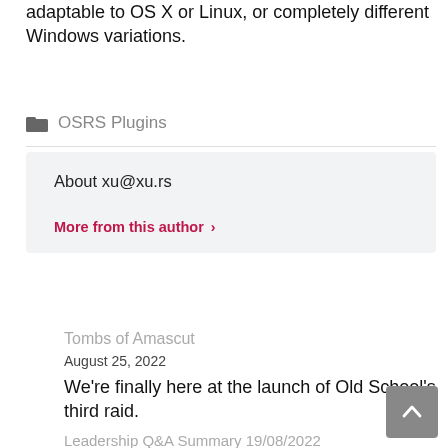adaptable to OS X or Linux, or completely different Windows variations.
OSRS Plugins
About xu@xu.rs
More from this author ›
Tombs of Amascut
August 25, 2022
We're finally here at the launch of Old School's third raid.
Leadership Q&A Summary 19/08/2022